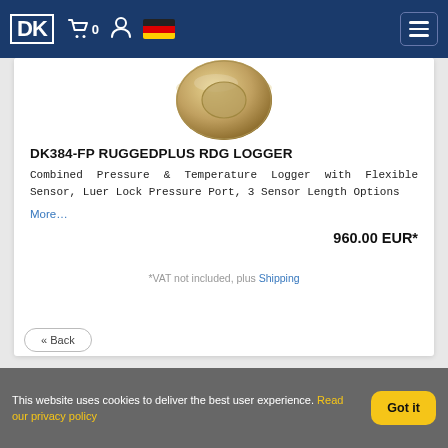DK logo, cart (0), user icon, German flag, hamburger menu
[Figure (photo): Circular gold/beige colored pressure/temperature logger device, top view, partially visible at top of card]
DK384-FP RUGGEDPLUS RDG LOGGER
Combined Pressure & Temperature Logger with Flexible Sensor, Luer Lock Pressure Port, 3 Sensor Length Options
More…
960.00 EUR*
*VAT not included, plus Shipping
« Back
This website uses cookies to deliver the best user experience. Read our privacy policy